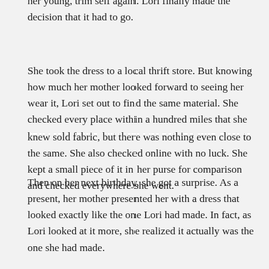her young, trim self again. Lori finally made the decision that it had to go.
She took the dress to a local thrift store. But knowing how much her mother looked forward to seeing her wear it, Lori set out to find the same material. She checked every place within a hundred miles that she knew sold fabric, but there was nothing even close to the same. She also checked online with no luck. She kept a small piece of it in her purse for comparison and checked everywhere she went.
Then on her next birthday, she got a surprise. As a present, her mother presented her with a dress that looked exactly like the one Lori had made. In fact, as Lori looked at it more, she realized it actually was the one she had made.